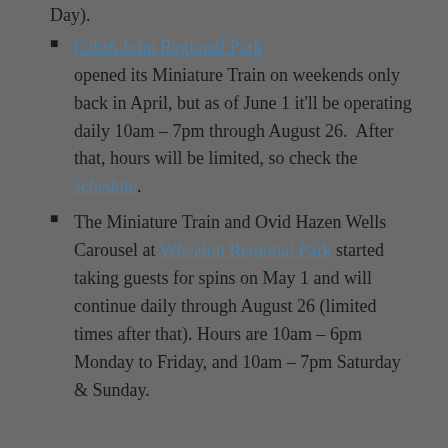Day).
Cabin John Regional Park opened its Miniature Train on weekends only back in April, but as of June 1 it'll be operating daily 10am – 7pm through August 26. After that, hours will be limited, so check the schedule.
The Miniature Train and Ovid Hazen Wells Carousel at Wheaton Regional Park started taking guests for spins on May 1 and will continue daily through August 26 (limited times after that). Hours are 10am – 6pm Monday to Friday, and 10am – 7pm Saturday & Sunday.